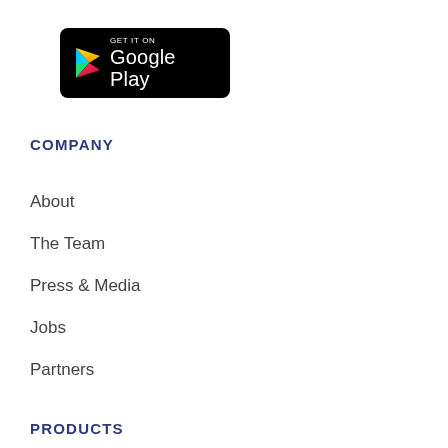[Figure (logo): Google Play store badge with black rounded rectangle background, white 'GET IT ON' text and 'Google Play' text, and a colorful play button triangle icon]
COMPANY
About
The Team
Press & Media
Jobs
Partners
PRODUCTS
SMS
MMS